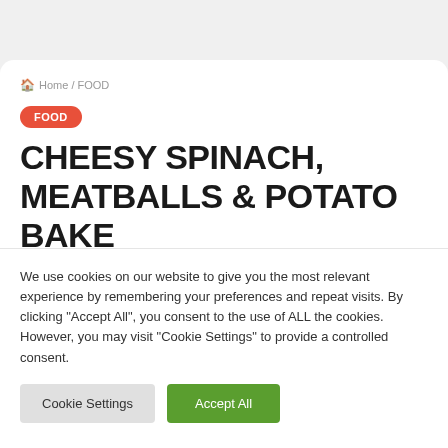🏠 Home / FOOD
CHEESY SPINACH, MEATBALLS & POTATO BAKE
We use cookies on our website to give you the most relevant experience by remembering your preferences and repeat visits. By clicking "Accept All", you consent to the use of ALL the cookies. However, you may visit "Cookie Settings" to provide a controlled consent.
Cookie Settings | Accept All